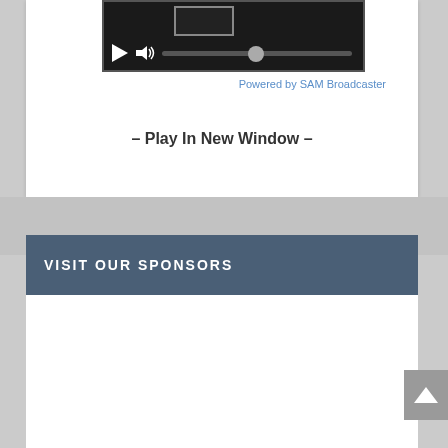[Figure (screenshot): Media player widget with play button, volume icon, and progress/volume slider bar on dark background]
Powered by SAM Broadcaster
– Play In New Window –
VISIT OUR SPONSORS